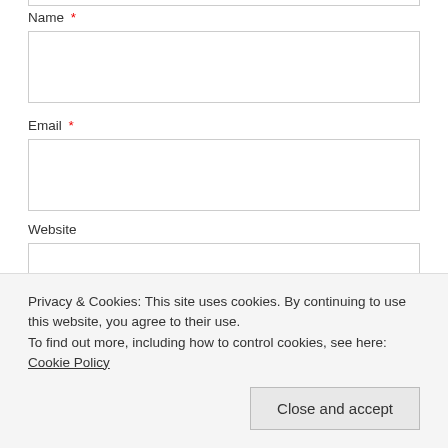Name *
[Figure (screenshot): Empty text input box for Name field]
Email *
[Figure (screenshot): Empty text input box for Email field]
Website
[Figure (screenshot): Empty text input box for Website field]
Post Comment
Notify me of new comments via email
Privacy & Cookies: This site uses cookies. By continuing to use this website, you agree to their use.
To find out more, including how to control cookies, see here: Cookie Policy
Close and accept